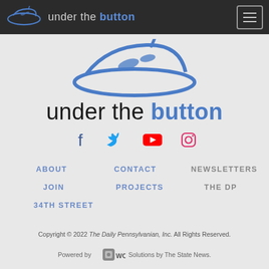under the button
[Figure (logo): Under the Button logo — stylized pizza slice in blue outline]
under the button
[Figure (infographic): Social media icons row: Facebook, Twitter, YouTube, Instagram]
ABOUT
CONTACT
NEWSLETTERS
JOIN
PROJECTS
THE DP
34TH STREET
Copyright © 2022 The Daily Pennsylvanian, Inc. All Rights Reserved.
Powered by [WORKS logo] Solutions by The State News.